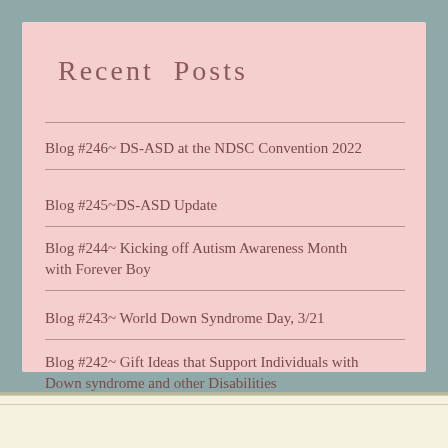Recent Posts
Blog #246~ DS-ASD at the NDSC Convention 2022
Blog #245~DS-ASD Update
Blog #244~ Kicking off Autism Awareness Month with Forever Boy
Blog #243~ World Down Syndrome Day, 3/21
Blog #242~ Gift Ideas that Support Individuals with Down syndrome and other Disabilities